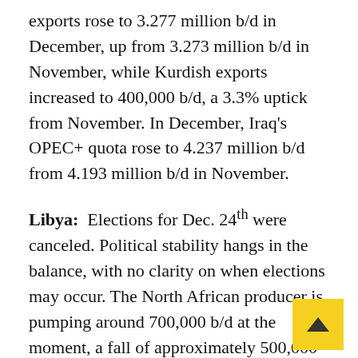exports rose to 3.277 million b/d in December, up from 3.273 million b/d in November, while Kurdish exports increased to 400,000 b/d, a 3.3% uptick from November. In December, Iraq's OPEC+ quota rose to 4.237 million b/d from 4.193 million b/d in November.
Libya: Elections for Dec. 24th were canceled. Political stability hangs in the balance, with no clarity on when elections may occur. The North African producer is pumping around 700,000 b/d at the moment, a fall of approximately 500,000 b/d from mid-December.